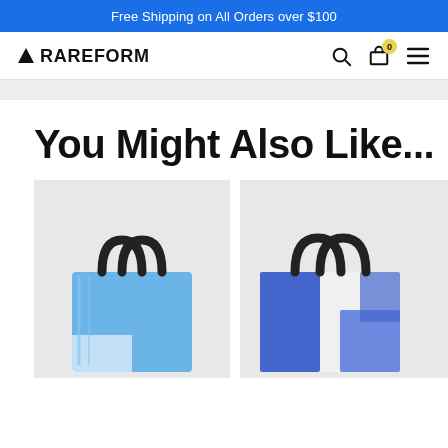Free Shipping on All Orders over $100
[Figure (logo): RAREFORM logo with triangle icon, search icon, cart icon with badge '0', hamburger menu icon]
You Might Also Like...
[Figure (photo): Blue tote bag with black handles on light grey background]
[Figure (photo): Blue and white patterned tote bag with black handles on light grey background]